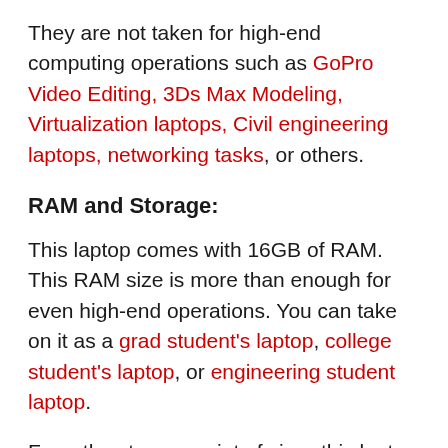They are not taken for high-end computing operations such as GoPro Video Editing, 3Ds Max Modeling, Virtualization laptops, Civil engineering laptops, networking tasks, or others.
RAM and Storage:
This laptop comes with 16GB of RAM. This RAM size is more than enough for even high-end operations. You can take on it as a grad student's laptop, college student's laptop, or engineering student laptop.
From the storage point of view, this laptop